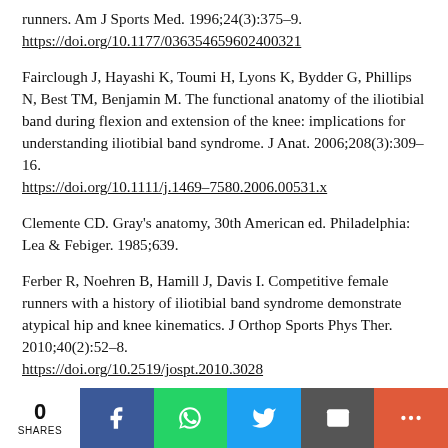runners. Am J Sports Med. 1996;24(3):375–9. https://doi.org/10.1177/036354659602400321
Fairclough J, Hayashi K, Toumi H, Lyons K, Bydder G, Phillips N, Best TM, Benjamin M. The functional anatomy of the iliotibial band during flexion and extension of the knee: implications for understanding iliotibial band syndrome. J Anat. 2006;208(3):309–16. https://doi.org/10.1111/j.1469-7580.2006.00531.x
Clemente CD. Gray's anatomy, 30th American ed. Philadelphia: Lea & Febiger. 1985;639.
Ferber R, Noehren B, Hamill J, Davis I. Competitive female runners with a history of iliotibial band syndrome demonstrate atypical hip and knee kinematics. J Orthop Sports Phys Ther. 2010;40(2):52–8. https://doi.org/10.2519/jospt.2010.3028
0 SHARES | Share buttons: Facebook, WhatsApp, Twitter, Email, More